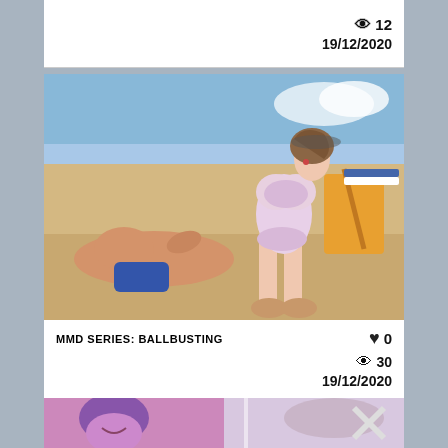👁 12
19/12/2020
[Figure (illustration): Anime-style 3D rendered image showing two characters on a beach scene. A female character in a pink/white bikini is standing, and a male character is on the ground.]
MMD SERIES: BALLBUSTING  ♥ 0  👁 30  19/12/2020
[Figure (illustration): Partial view of another anime-style image at the bottom, showing a purple-haired character and another scene.]